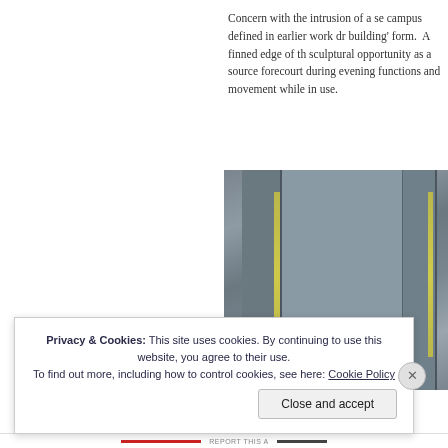Concern with the intrusion of a se campus defined in earlier work dr building' form. A finned edge of th sculptural opportunity as a source forecourt during evening functions and movement while in use.
[Figure (photo): Architectural photo showing building facade with vertical fins/panels in grey tones with yellow/green illuminated strips between the fins, suggesting evening lighting.]
Privacy & Cookies: This site uses cookies. By continuing to use this website, you agree to their use.
To find out more, including how to control cookies, see here: Cookie Policy